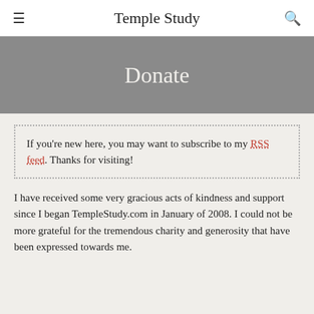Temple Study
Donate
If you're new here, you may want to subscribe to my RSS feed. Thanks for visiting!
I have received some very gracious acts of kindness and support since I began TempleStudy.com in January of 2008. I could not be more grateful for the tremendous charity and generosity that have been expressed towards me.